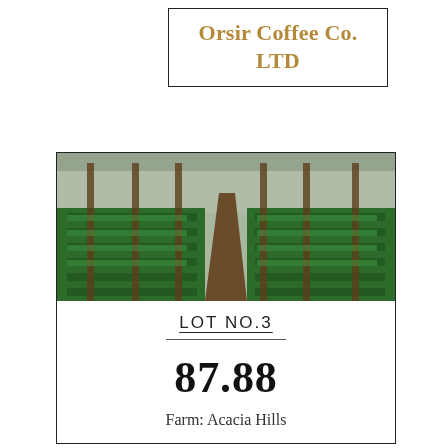Orsir Coffee Co. LTD
[Figure (photo): Rows of green coffee seedlings in a nursery greenhouse with wooden support posts and a central dirt path receding into the distance.]
LOT NO.3
87.88
Farm: Acacia Hills